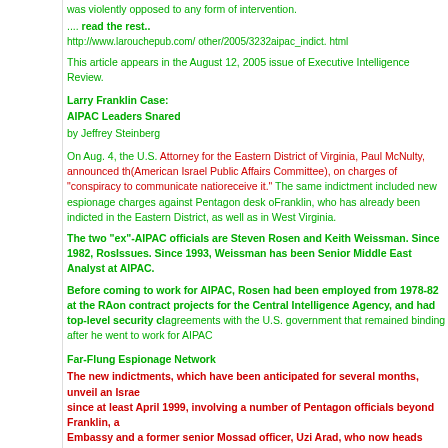was violently opposed to any form of intervention.
.... read the rest..
http://www.larouchepub.com/ other/2005/3232aipac_indict. html
This article appears in the August 12, 2005 issue of Executive Intelligence Review.
Larry Franklin Case:
AIPAC Leaders Snared
by Jeffrey Steinberg
On Aug. 4, the U.S. Attorney for the Eastern District of Virginia, Paul McNulty, announced th... (American Israel Public Affairs Committee), on charges of "conspiracy to communicate natio... receive it." The same indictment included new espionage charges against Pentagon desk o... Franklin, who has already been indicted in the Eastern District, as well as in West Virginia.
The two "ex"-AIPAC officials are Steven Rosen and Keith Weissman. Since 1982, Ros... Issues. Since 1993, Weissman has been Senior Middle East Analyst at AIPAC.
Before coming to work for AIPAC, Rosen had been employed from 1978-82 at the RA... on contract projects for the Central Intelligence Agency, and had top-level security cl... agreements with the U.S. government that remained binding after he went to work for AIPAC.
Far-Flung Espionage Network
The new indictments, which have been anticipated for several months, unveil an Israe... since at least April 1999, involving a number of Pentagon officials beyond Franklin, a... Embassy and a former senior Mossad officer, Uzi Arad, who now heads Israel's prem... Interdisciplinary Center.[/color]
U.S. intelligence officials have told EIR that the AIPAC/Franklin case reveals a new...